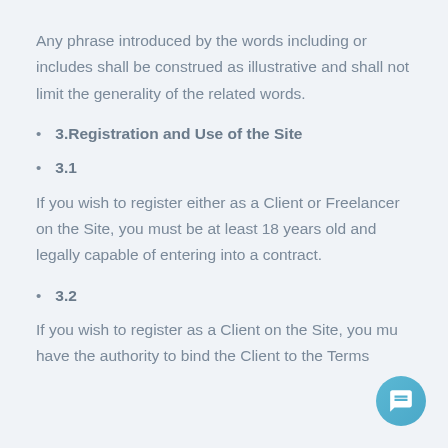Any phrase introduced by the words including or includes shall be construed as illustrative and shall not limit the generality of the related words.
3.Registration and Use of the Site
3.1
If you wish to register either as a Client or Freelancer on the Site, you must be at least 18 years old and legally capable of entering into a contract.
3.2
If you wish to register as a Client on the Site, you must have the authority to bind the Client to the Terms